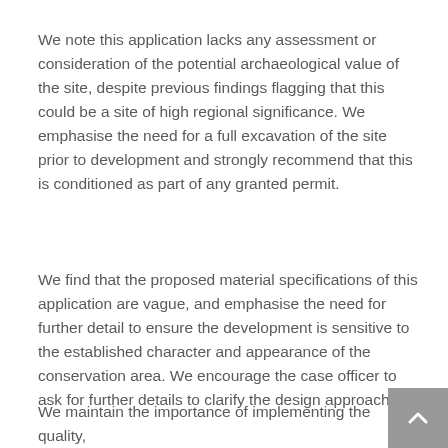We note this application lacks any assessment or consideration of the potential archaeological value of the site, despite previous findings flagging that this could be a site of high regional significance. We emphasise the need for a full excavation of the site prior to development and strongly recommend that this is conditioned as part of any granted permit.
We find that the proposed material specifications of this application are vague, and emphasise the need for further detail to ensure the development is sensitive to the established character and appearance of the conservation area. We encourage the case officer to ask for further details to clarify the design approach.
We maintain the importance of implementing the quality,